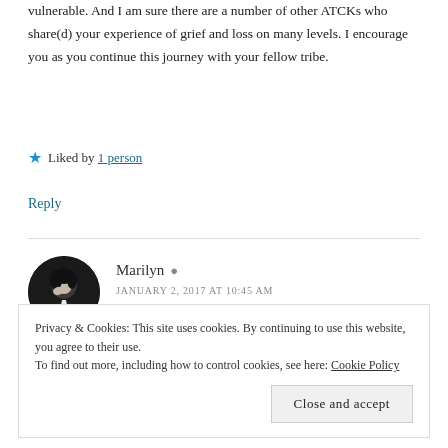vulnerable. And I am sure there are a number of other ATCKs who share(d) your experience of grief and loss on many levels. I encourage you as you continue this journey with your fellow tribe.
Liked by 1 person
Reply
[Figure (photo): Circular avatar photo of Marilyn, a woman in dark clothing with her hand near her face, against a dark background.]
Marilyn
JANUARY 2, 2017 AT 10:45 AM
Privacy & Cookies: This site uses cookies. By continuing to use this website, you agree to their use. To find out more, including how to control cookies, see here: Cookie Policy
Close and accept